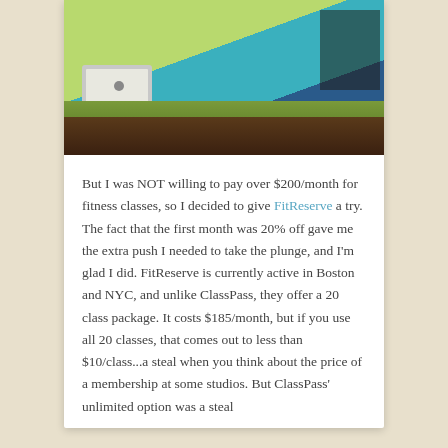[Figure (photo): Photo of a fitness studio reception desk with an iMac computer, green and teal graphic mural on the wall behind, shelving unit on the right, wooden desk surface.]
But I was NOT willing to pay over $200/month for fitness classes, so I decided to give FitReserve a try. The fact that the first month was 20% off gave me the extra push I needed to take the plunge, and I'm glad I did. FitReserve is currently active in Boston and NYC, and unlike ClassPass, they offer a 20 class package. It costs $185/month, but if you use all 20 classes, that comes out to less than $10/class...a steal when you think about the price of a membership at some studios. But ClassPass' unlimited option was a steal